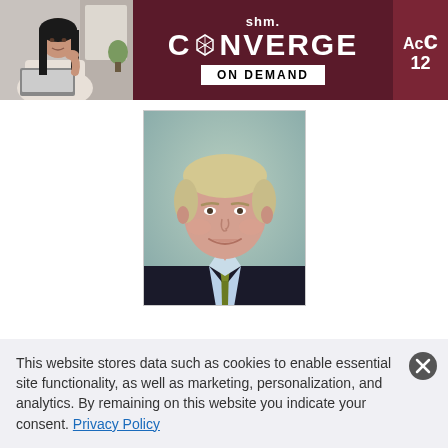[Figure (screenshot): SHM Converge On Demand banner with woman using laptop on left, dark maroon background with SHM logo, CONVERGE text with geometric diamond icon, ON DEMAND box, and partially visible Ac... 12... text on right]
[Figure (photo): Professional headshot of a middle-aged man with blond/grey hair, wearing a dark suit jacket, light blue shirt, and olive/gold tie, against a light green-grey gradient background]
This website stores data such as cookies to enable essential site functionality, as well as marketing, personalization, and analytics. By remaining on this website you indicate your consent. Privacy Policy